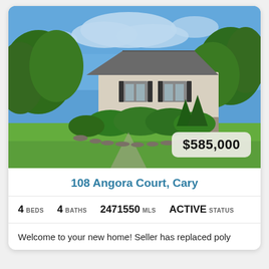[Figure (photo): Exterior photo of a two-story beige/tan split-level house with dark shutters, surrounded by lush green trees and a well-manicured lawn under a partly cloudy blue sky.]
108 Angora Court, Cary
4 BEDS   4 BATHS   2471550 MLS   ACTIVE STATUS
Welcome to your new home! Seller has replaced poly